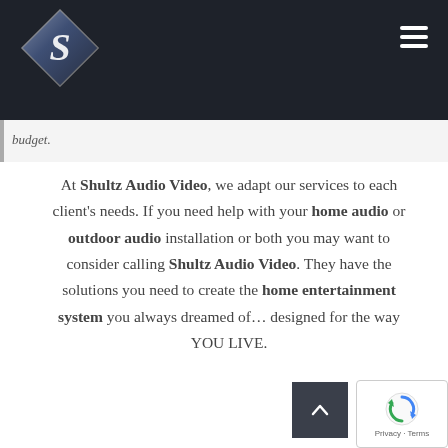[Figure (logo): Shultz Audio Video diamond logo with stylized S on dark background, in the top navigation bar]
budget.
At Shultz Audio Video, we adapt our services to each client's needs. If you need help with your home audio or outdoor audio installation or both you may want to consider calling Shultz Audio Video. They have the solutions you need to create the home entertainment system you always dreamed of... designed for the way YOU LIVE.